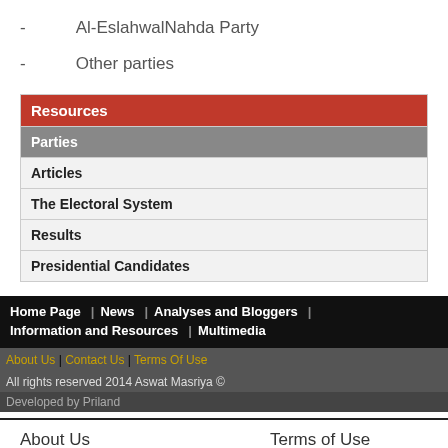- Al-EslahwalNahda Party
- Other parties
| Resources |
| --- |
| Parties |
| Articles |
| The Electoral System |
| Results |
| Presidential Candidates |
Home Page | News | Analyses and Bloggers | Information and Resources | Multimedia
About Us | Contact Us | Terms Of Use
All rights reserved 2014 Aswat Masriya ©
Developed by Priland
About Us    Terms of Use
Contact Us